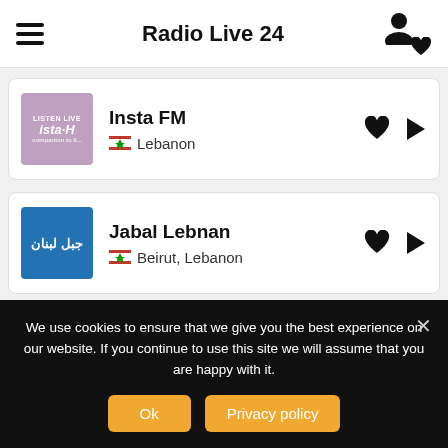Radio Live 24
Insta FM — Lebanon
Jabal Lebnan — Beirut, Lebanon
Jaras Scoop FM — Lebanon
We use cookies to ensure that we give you the best experience on our website. If you continue to use this site we will assume that you are happy with it.